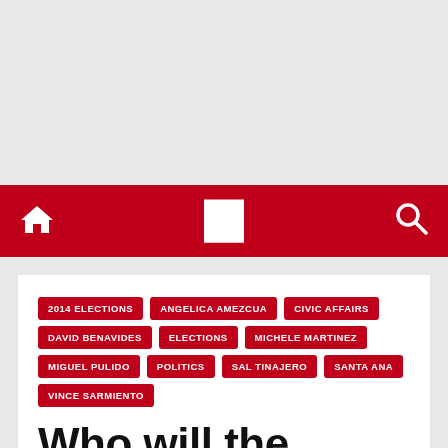Navigation bar with home icon, logo placeholder, and search icon
2014 ELECTIONS
ANGELICA AMEZCUA
CIVIC AFFAIRS
DAVID BENAVIDES
ELECTIONS
MICHELE MARTINEZ
MIGUEL PULIDO
POLITICS
SAL TINAJERO
SANTA ANA
VINCE SARMIENTO
Who will the Santa Ana City Council